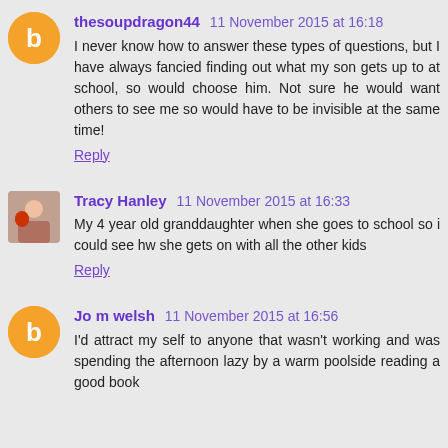thesoupdragon44  11 November 2015 at 16:18
I never know how to answer these types of questions, but I have always fancied finding out what my son gets up to at school, so would choose him. Not sure he would want others to see me so would have to be invisible at the same time!
Reply
Tracy Hanley  11 November 2015 at 16:33
My 4 year old granddaughter when she goes to school so i could see hw she gets on with all the other kids
Reply
Jo m welsh  11 November 2015 at 16:56
I'd attract my self to anyone that wasn't working and was spending the afternoon lazy by a warm poolside reading a good book